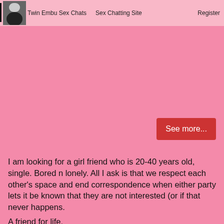Twin Embu Sex Chats | Sex Chatting Site | Register
[Figure (other): Red button labeled 'See more...']
I am looking for a girl friend who is 20-40 years old, single. Bored n lonely. All I ask is that we respect each other's space and end correspondence when either party lets it be known that they are not interested (or if that never happens.
A friend for life.